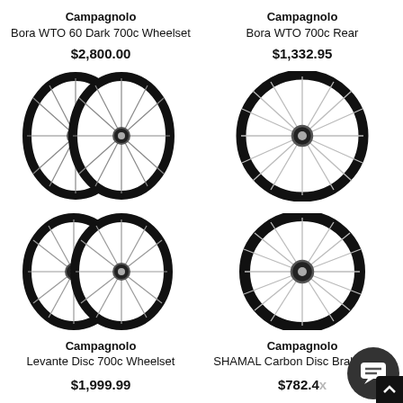Campagnolo Bora WTO 60 Dark 700c Wheelset
$2,800.00
[Figure (photo): Two black carbon road bike wheels (front and rear) - Campagnolo Bora WTO 60 Dark 700c Wheelset]
Campagnolo Bora WTO 700c Rear
$1,332.95
[Figure (photo): Single large black carbon road bike wheel - Campagnolo Bora WTO 700c Rear]
Campagnolo Levante Disc 700c Wheelset
$1,999.99
[Figure (photo): Two black carbon disc brake wheels - Campagnolo Levante Disc 700c Wheelset]
Campagnolo SHAMAL Carbon Disc Brake 700c
$782.4